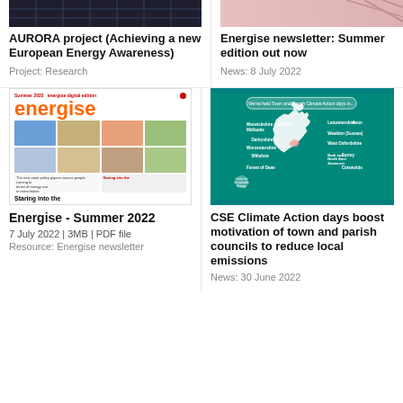[Figure (photo): Dark background image strip at the top left, likely solar panels]
AURORA project (Achieving a new European Energy Awareness)
Project: Research
[Figure (photo): Pink/rose-tinted image strip at the top right]
Energise newsletter: Summer edition out now
News: 8 July 2022
[Figure (photo): Thumbnail of Energise newsletter Summer 2022 showing the energise logo in orange and grid of article images with caption 'Staring into the']
Energise - Summer 2022
7 July 2022 | 3MB | PDF file
Resource: Energise newsletter
[Figure (map): Map of UK on teal/green background showing regions where Town and Parish Climate Action days have been held: Warwickshire and West Midlands, Derbyshire, Worcestershire, Wiltshire, Forest of Dean, Leicestershire, Wealdon (Sussex), West Oxfordshire, Surrey, Bath and North East Somerset, Avon, Cotswolds]
CSE Climate Action days boost motivation of town and parish councils to reduce local emissions
News: 30 June 2022